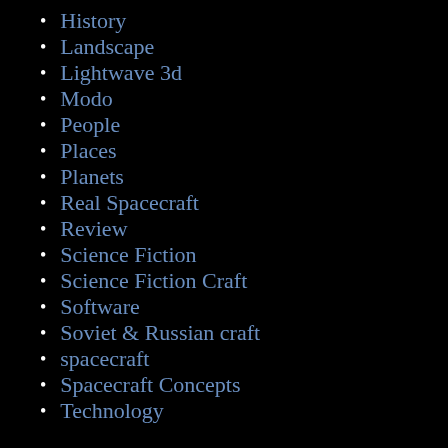History
Landscape
Lightwave 3d
Modo
People
Places
Planets
Real Spacecraft
Review
Science Fiction
Science Fiction Craft
Software
Soviet & Russian craft
spacecraft
Spacecraft Concepts
Technology